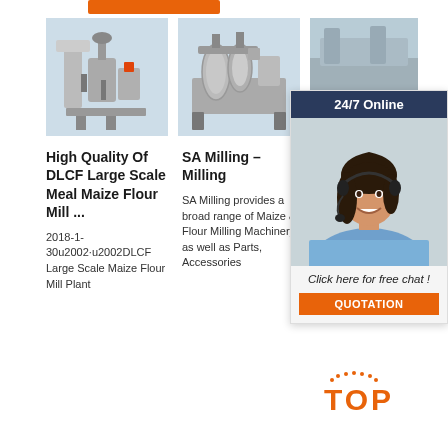[Figure (other): Orange navigation/banner bar at top]
[Figure (photo): High Quality DLCF Large Scale Meal Maize Flour Mill machine product photo on light blue background]
[Figure (photo): SA Milling machine product photo on light blue background]
[Figure (photo): Third product machine photo partially visible, partially covered by chat widget]
High Quality Of DLCF Large Scale Meal Maize Flour Mill ...
2018-1-30u2002·u2002DLCF Large Scale Maize Flour Mill Plant
SA Milling – Milling
SA Milling provides a broad range of Maize & Flour Milling Machinery as well as Parts, Accessories
[Figure (photo): Chat widget overlay: 24/7 Online header, female customer service agent with headset, Click here for free chat!, QUOTATION button]
[Figure (other): TOP watermark in orange at bottom right corner]